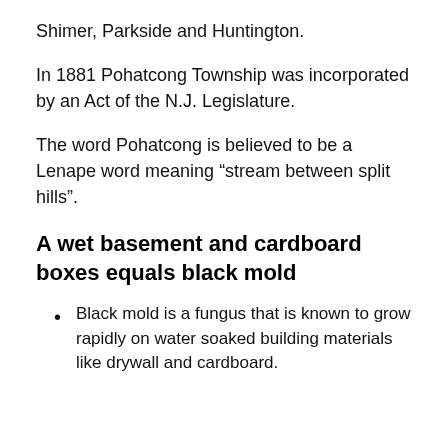Shimer, Parkside and Huntington.
In 1881 Pohatcong Township was incorporated by an Act of the N.J. Legislature.
The word Pohatcong is believed to be a Lenape word meaning “stream between split hills”.
A wet basement and cardboard boxes equals black mold
Black mold is a fungus that is known to grow rapidly on water soaked building materials like drywall and cardboard.